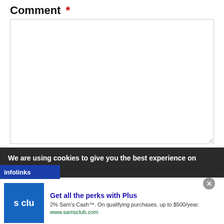Comment *
[Figure (screenshot): Empty comment textarea input box with resize handle at bottom right]
We are using cookies to give you the best experience on our
[Figure (logo): Infolinks badge logo]
[Figure (infographic): Sam's Club advertisement: Get all the perks with Plus. 2% Sam's Cash™. On qualifying purchases, up to $500/year. www.samsclub.com]